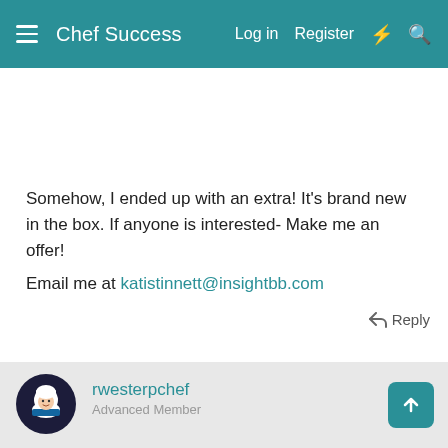Chef Success  Log in  Register
Somehow, I ended up with an extra! It's brand new in the box. If anyone is interested- Make me an offer!

Email me at katistinnett@insightbb.com
Reply
rwesterpchef